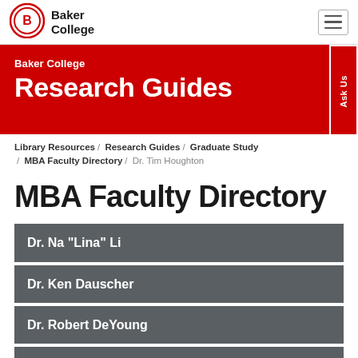Baker College
[Figure (logo): Baker College logo: red circle with letter B and Baker College wordmark]
Baker College Research Guides
Library Resources / Research Guides / Graduate Study / MBA Faculty Directory / Dr. Tim Houghton
MBA Faculty Directory
Dr. Na "Lina" Li
Dr. Ken Dauscher
Dr. Robert DeYoung
Dr. Thomas Gilbertson